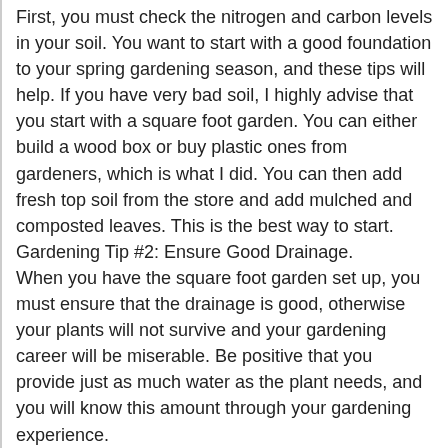First, you must check the nitrogen and carbon levels in your soil. You want to start with a good foundation to your spring gardening season, and these tips will help. If you have very bad soil, I highly advise that you start with a square foot garden. You can either build a wood box or buy plastic ones from gardeners, which is what I did. You can then add fresh top soil from the store and add mulched and composted leaves. This is the best way to start.
Gardening Tip #2: Ensure Good Drainage.
When you have the square foot garden set up, you must ensure that the drainage is good, otherwise your plants will not survive and your gardening career will be miserable. Be positive that you provide just as much water as the plant needs, and you will know this amount through your gardening experience.
Gardening Tip #3: Provide Lots of Sunlight.
All plant life is totally dependent on the sun. without enough sunlight, the garden will never be strong and probably never sprout. This is absolutely crucial. However, you must ensure that the plants that are in the sun are able to withstand it. All this information is on the